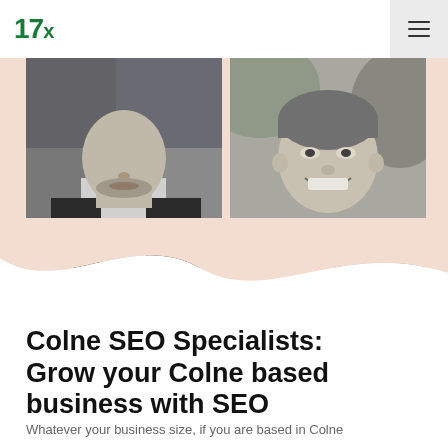17x
[Figure (photo): Two black and white portrait photos side by side: left shows a man in a suit (lower face visible), right shows a smiling older woman with short hair.]
Colne SEO Specialists: Grow your Colne based business with SEO
Whatever your business size, if you are based in Colne